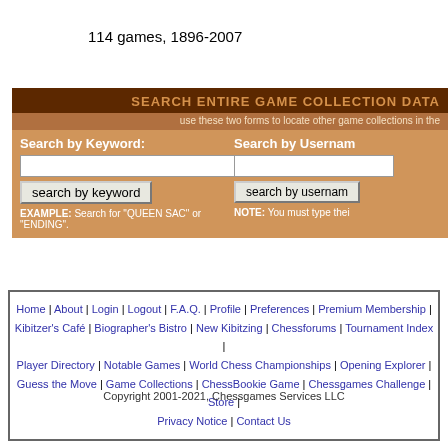114 games, 1896-2007
SEARCH ENTIRE GAME COLLECTION DATA
use these two forms to locate other game collections in the
Search by Keyword: / Search by Username
EXAMPLE: Search for "QUEEN SAC" or "ENDING". | NOTE: You must type thei
Home | About | Login | Logout | F.A.Q. | Profile | Preferences | Premium Membership | Kibitzer's Café | Biographer's Bistro | New Kibitzing | Chessforums | Tournament Index | Player Directory | Notable Games | World Chess Championships | Opening Explorer | Guess the Move | Game Collections | ChessBookie Game | Chessgames Challenge | Store | Privacy Notice | Contact Us
Copyright 2001-2021, Chessgames Services LLC